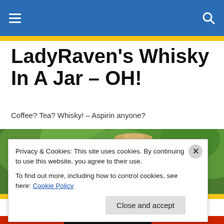Navigation bar with hamburger menu and search icon
LadyRaven's Whisky In A Jar – OH!
Coffee? Tea? Whisky! – Aspirin anyone?
[Figure (photo): A smiling woman in a red flannel shirt and cowboy hat holding a large jar, standing in front of green trees. An older man is partially visible on the left.]
Privacy & Cookies: This site uses cookies. By continuing to use this website, you agree to their use.
To find out more, including how to control cookies, see here: Cookie Policy